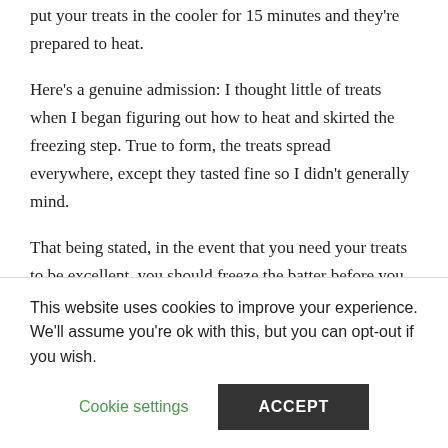put your treats in the cooler for 15 minutes and they're prepared to heat.
Here's a genuine admission: I thought little of treats when I began figuring out how to heat and skirted the freezing step. True to form, the treats spread everywhere, except they tasted fine so I didn't generally mind.
That being stated, in the event that you need your treats to be excellent, you should freeze the batter before you prepare them.
Fixing...
This website uses cookies to improve your experience. We'll assume you're ok with this, but you can opt-out if you wish.
Cookie settings    ACCEPT